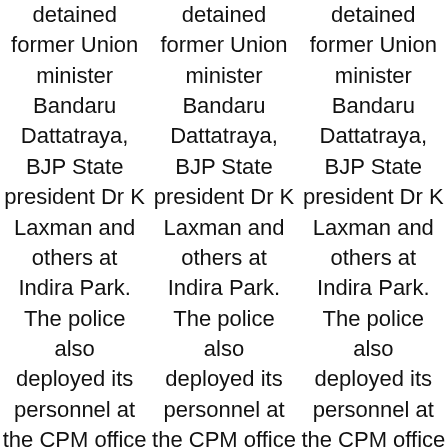detained former Union minister Bandaru Dattatraya, BJP State president Dr K Laxman and others at Indira Park. The police also deployed its personnel at the CPM office as BJP has given a call earlier. The BJP had taken the
detained former Union minister Bandaru Dattatraya, BJP State president Dr K Laxman and others at Indira Park. The police also deployed its personnel at the CPM office as BJP has given a call earlier. The BJP had taken the
detained former Union minister Bandaru Dattatraya, BJP State president Dr K Laxman and others at Indira Park. The police also deployed its personnel at the CPM office as BJP has given a call earlier. The BJP had taken the